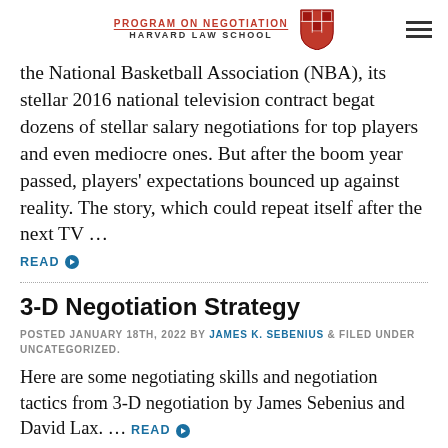PROGRAM ON NEGOTIATION / HARVARD LAW SCHOOL
the National Basketball Association (NBA), its stellar 2016 national television contract begat dozens of stellar salary negotiations for top players and even mediocre ones. But after the boom year passed, players' expectations bounced up against reality. The story, which could repeat itself after the next TV …
READ
3-D Negotiation Strategy
POSTED JANUARY 18TH, 2022 BY JAMES K. SEBENIUS & FILED UNDER UNCATEGORIZED.
Here are some negotiating skills and negotiation tactics from 3-D negotiation by James Sebenius and David Lax. … READ